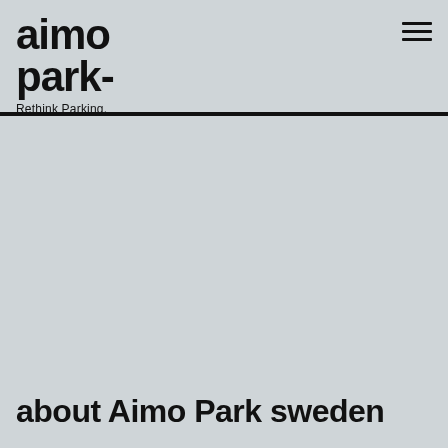[Figure (logo): Aimo Park logo with bold black text reading 'aimo park' in two lines, followed by tagline 'Rethink Parking.' in smaller text]
about Aimo Park sweden